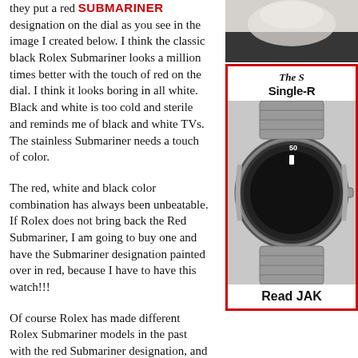they put a red SUBMARINER designation on the dial as you see in the image I created below. I think the classic black Rolex Submariner looks a million times better with the touch of red on the dial. I think it looks boring in all white. Black and white is too cold and sterile and reminds me of black and white TVs. The stainless Submariner needs a touch of color.
The red, white and black color combination has always been unbeatable. If Rolex does not bring back the Red Submariner, I am going to buy one and have the Submariner designation painted over in red, because I have to have this watch!!!
Of course Rolex has made different Rolex Submariner models in the past with the red Submariner designation, and the last production model was the Reference 1680...
[Figure (photo): Top right partial image, appears to be a cropped photo (white/grey tones, partial face or object visible)]
[Figure (photo): Sidebar box with red border showing a Rolex Submariner watch with black bezel and dial, close-up view. Title above reads 'The S Single-R' (partially visible). Caption at bottom reads 'Read JAK']